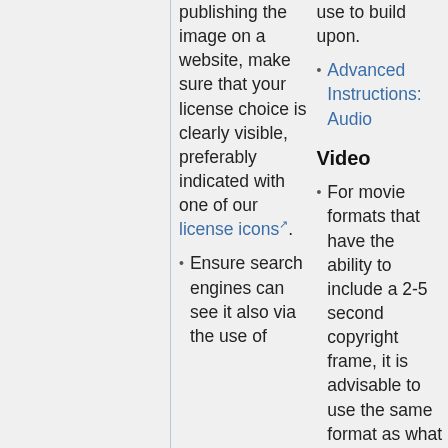publishing the image on a website, make sure that your license choice is clearly visible, preferably indicated with one of our license icons.
Ensure search engines can see it also via the use of
use to build upon.
Advanced Instructions: Audio
Video
For movie formats that have the ability to include a 2-5 second copyright frame, it is advisable to use the same format as what is suggested for textual works: